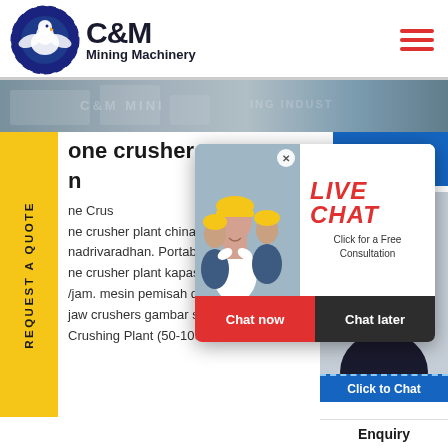[Figure (logo): C&M Mining Machinery logo with eagle in gear circle]
C&M Mining Machinery
[Figure (photo): Industrial mining machinery facility banner image]
[Figure (photo): Live chat popup with workers in hard hats and LIVE CHAT text, Chat now / Chat later buttons]
one crusher plant china 30-40 t/h nadrivaradhan. Portable Jaw Crusher plant kapasitas 30-4 /jam. mesin pemisah debu dan jaw crushers gambar stone crusher Crushing Plant (50-1000 TON PER H
[Figure (photo): Customer support agent with headset, Click to Chat button, Enquiry label. Hours Online blue box.]